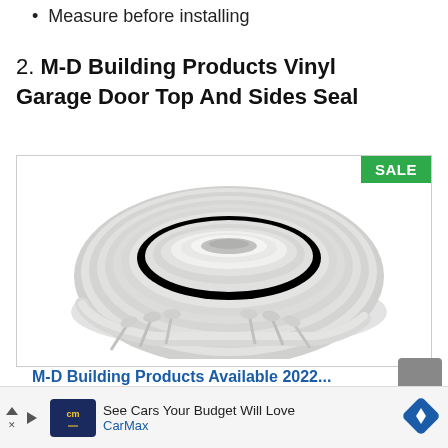Measure before installing
2. M-D Building Products Vinyl Garage Door Top And Sides Seal
[Figure (photo): A coiled roll of white vinyl garage door seal strip with nails/fasteners shown below it, with a green SALE badge in the top right corner of the image box.]
M-D Building Products Available 2022...
See Cars Your Budget Will Love
CarMax